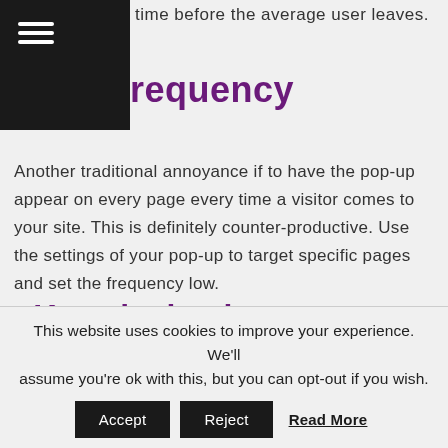time before the average user leaves.
frequency
Another traditional annoyance if to have the pop-up appear on every page every time a visitor comes to your site. This is definitely counter-productive. Use the settings of your pop-up to target specific pages and set the frequency low.
Keep it simple
Whatever you are offering to or requesting from your users don't make it a pain to complete. My own view is
This website uses cookies to improve your experience. We'll assume you're ok with this, but you can opt-out if you wish. Accept Reject Read More